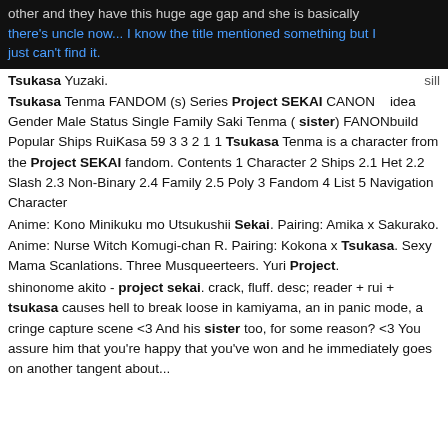other and they have this huge age gap and she is basically there's uncle now... I know the title mentioned something but I just can't find it.
Tsukasa Yuzaki. sill
Tsukasa Tenma FANDOM (s) Series Project SEKAI CANON idea Gender Male Status Single Family Saki Tenma ( sister) FANON build Popular Ships RuiKasa 59 3 3 2 1 1 Tsukasa Tenma is a character from the Project SEKAI fandom. Contents 1 Character 2 Ships 2.1 Het 2.2 Slash 2.3 Non-Binary 2.4 Family 2.5 Poly 3 Fandom 4 List 5 Navigation Character
Anime: Kono Minikuku mo Utsukushii Sekai. Pairing: Amika x Sakurako. Anime: Nurse Witch Komugi-chan R. Pairing: Kokona x Tsukasa. Sexy Mama Scanlations. Three Musqueerteers. Yuri Project.
shinonome akito - project sekai. crack, fluff. desc; reader + rui + tsukasa causes hell to break loose in kamiyama, an in panic mode, a cringe capture scene <3 And his sister too, for some reason? <3 You assure him that you're happy that you've won and he immediately goes on another tangent about...